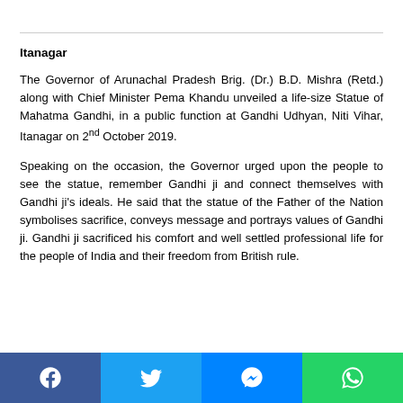Itanagar
The Governor of Arunachal Pradesh Brig. (Dr.) B.D. Mishra (Retd.) along with Chief Minister Pema Khandu unveiled a life-size Statue of Mahatma Gandhi, in a public function at Gandhi Udhyan, Niti Vihar, Itanagar on 2nd October 2019.
Speaking on the occasion, the Governor urged upon the people to see the statue, remember Gandhi ji and connect themselves with Gandhi ji's ideals. He said that the statue of the Father of the Nation symbolises sacrifice, conveys message and portrays values of Gandhi ji. Gandhi ji sacrificed his comfort and well settled professional life for the people of India and their freedom from British rule.
Facebook | Twitter | Messenger | WhatsApp